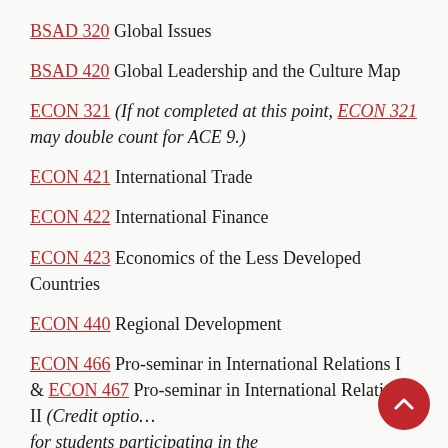BSAD 320 Global Issues
BSAD 420 Global Leadership and the Culture Map
ECON 321 (If not completed at this point, ECON 321 may double count for ACE 9.)
ECON 421 International Trade
ECON 422 International Finance
ECON 423 Economics of the Less Developed Countries
ECON 440 Regional Development
ECON 466 Pro-seminar in International Relations I & ECON 467 Pro-seminar in International Relations II (Credit option for students participating in the Nebraska at Oxford Program.)